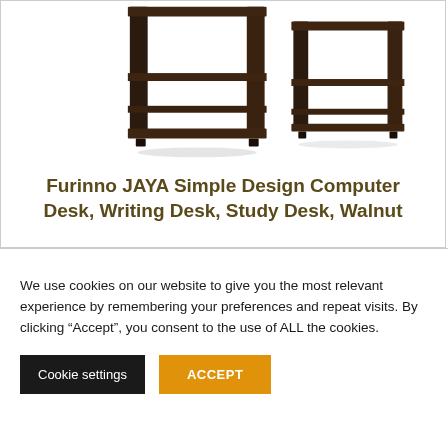[Figure (photo): Product photo of a dark walnut Furinno JAYA Simple Design Computer Desk showing two side-by-side desk units with shelves, in dark espresso/walnut finish]
Furinno JAYA Simple Design Computer Desk, Writing Desk, Study Desk, Walnut
We use cookies on our website to give you the most relevant experience by remembering your preferences and repeat visits. By clicking “Accept”, you consent to the use of ALL the cookies.
Cookie settings | ACCEPT